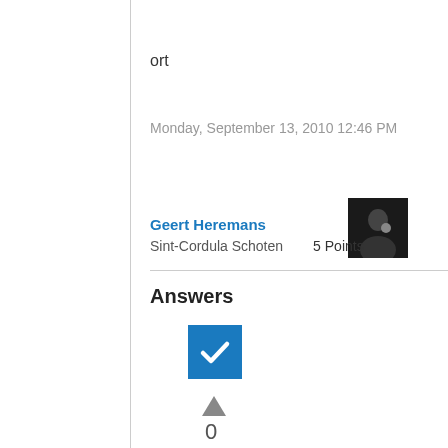ort
Monday, September 13, 2010 12:46 PM
[Figure (photo): Small dark avatar photo of Geert Heremans]
Geert Heremans
Sint-Cordula Schoten   5 Points
Answers
[Figure (other): Blue checkbox with white checkmark]
[Figure (other): Upward pointing triangle vote button]
0
Sign in to vote